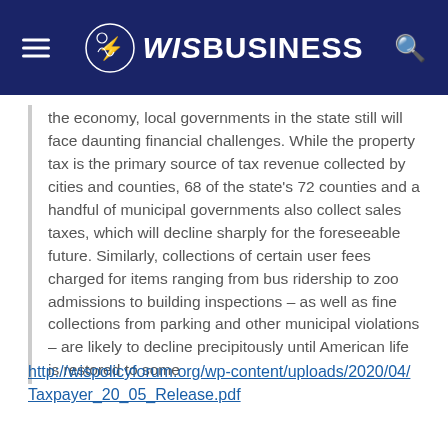WisBusiness
the economy, local governments in the state still will face daunting financial challenges. While the property tax is the primary source of tax revenue collected by cities and counties, 68 of the state's 72 counties and a handful of municipal governments also collect sales taxes, which will decline sharply for the foreseeable future. Similarly, collections of certain user fees charged for items ranging from bus ridership to zoo admissions to building inspections – as well as fine collections from parking and other municipal violations – are likely to decline precipitously until American life is restored to some
http://wispolicyforum.org/wp-content/uploads/2020/04/Taxpayer_20_05_Release.pdf
— A recent podcast from leaders of the Dairy Business Association and Edge Dairy Farmer Cooperative explores the industry's current predicament, as the coronavirus outbreak